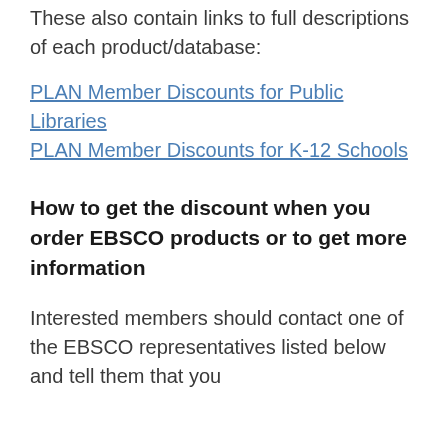These also contain links to full descriptions of each product/database:
PLAN Member Discounts for Public Libraries
PLAN Member Discounts for K-12 Schools
How to get the discount when you order EBSCO products or to get more information
Interested members should contact one of the EBSCO representatives listed below and tell them that you